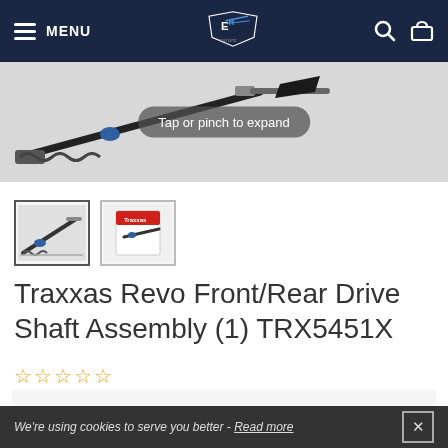MENU | EuroRC Logo | Search | Cart
[Figure (photo): Product photo of Traxxas Revo Front/Rear Drive Shaft Assembly with 'Tap or pinch to expand' overlay button]
[Figure (photo): Thumbnail 1: drive shaft part on grey background]
[Figure (photo): Thumbnail 2: drive shaft part in packaging]
Traxxas Revo Front/Rear Drive Shaft Assembly (1) TRX5451X
☆☆☆☆☆
| Price |  |
| --- | --- |
| Price | 18,48 € |
We're using cookies to serve you better - Read more  ✕